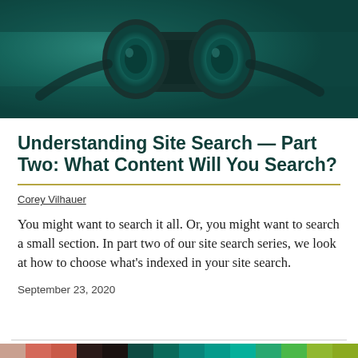[Figure (photo): A close-up photo of binoculars with a teal/dark green color overlay, viewed from the front lenses perspective.]
Understanding Site Search — Part Two: What Content Will You Search?
Corey Vilhauer
You might want to search it all. Or, you might want to search a small section. In part two of our site search series, we look at how to choose what's indexed in your site search.
September 23, 2020